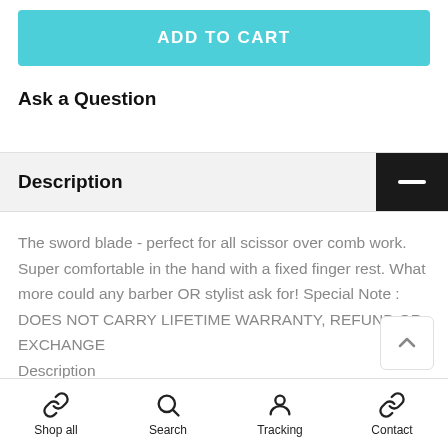ADD TO CART
Ask a Question
Description
The sword blade - perfect for all scissor over comb work. Super comfortable in the hand with a fixed finger rest. What more could any barber OR stylist ask for! Special Note : DOES NOT CARRY LIFETIME WARRANTY, REFUND OR EXCHANGE
Description
** FREE SHIPPING IN AUSTRALIA**
Shop all | Search | Tracking | Contact